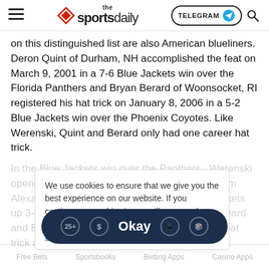the sportsdaily | TELEGRAM | Search
on this distinguished list are also American blueliners. Deron Quint of Durham, NH accomplished the feat on March 9, 2001 in a 7-6 Blue Jackets win over the Florida Panthers and Bryan Berard of Woonsocket, RI registered his hat trick on January 8, 2006 in a 5-2 Blue Jackets win over the Phoenix Coyotes. Like Werenski, Quint and Berard only had one career hat trick.
In the Blue Jackets win over the Panthers, Werenski opened the scoring at 4:54 of the first period from Alexander Wennberg. He then put the Blue Jackets up 3-1 at 4:13 of the third period from David Savard and Boone Jenner. Werenski then notched his hat trick at 8:04 of the thi...
We use cookies to ensure that we give you the best experience on our website. If you continue to use this site we will assume that you are happy with it. Learn more
Okay
Free Bets   Sportsbooks   Betting Apps   Casino Apps